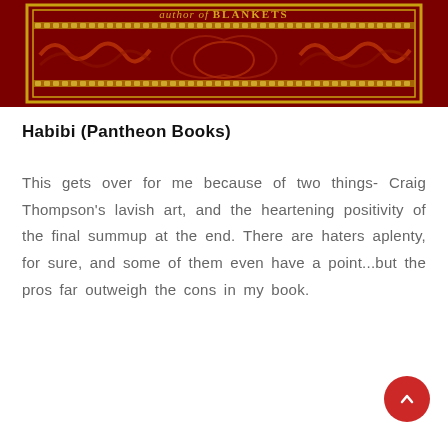[Figure (illustration): Book cover of Habibi showing dark red/crimson ornate cover with gold arabesque border designs and text 'author of BLANKETS' in decorative golden lettering on a rich burgundy background with intricate floral/vine patterns]
Habibi (Pantheon Books)
This gets over for me because of two things- Craig Thompson's lavish art, and the heartening positivity of the final summup at the end. There are haters aplenty, for sure, and some of them even have a point...but the pros far outweigh the cons in my book.